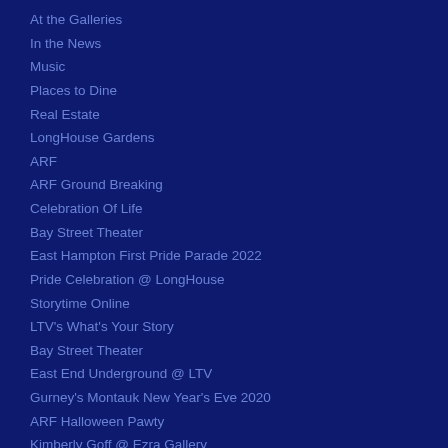At the Galleries
In the News
Music
Places to Dine
Real Estate
LongHouse Gardens
ARF
ARF Ground Breaking
Celebration Of Life
Bay Street Theater
East Hampton First Pride Parade 2022
Pride Celebration @ LongHouse
Storytime Online
LTV's What's Your Story
Bay Street Theater
East End Underground @ LTV
Gurney's Montauk New Year's Eve 2020
ARF Halloween Pawty
Kimberly Goff @ Ezra Gallery
Hampton Classic
Circus of Books
LongHouse Summer Benefit
Summer Pleasures @ Tulla Booth
ARF Designer Show House
ARF Pet Celebration